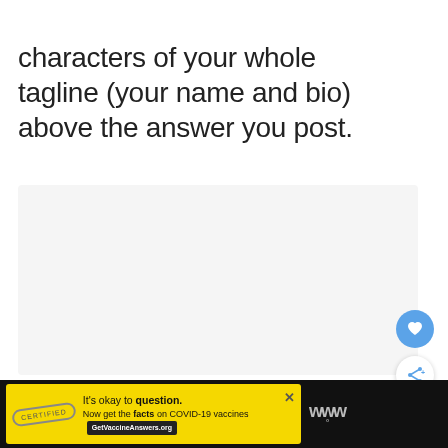characters of your whole tagline (your name and bio) above the answer you post.
[Figure (other): Light gray empty content box/placeholder area]
[Figure (other): Blue circular heart/like button and white circular share button overlaid on the gray box]
[Figure (screenshot): Black ad bar at bottom with yellow advertisement: 'It's okay to question. Now get the facts on COVID-19 vaccines GetVaccineAnswers.org' with a stamp graphic and a WW logo on the right]